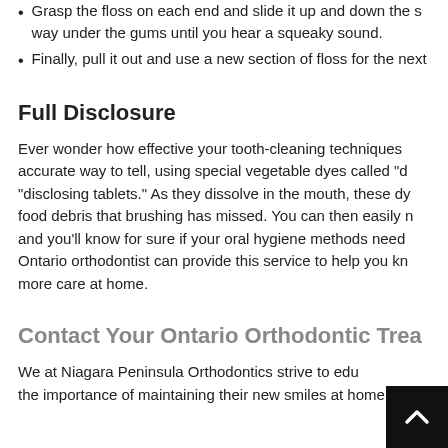Grasp the floss on each end and slide it up and down the side way under the gums until you hear a squeaky sound.
Finally, pull it out and use a new section of floss for the next
Full Disclosure
Ever wonder how effective your tooth-cleaning techniques accurate way to tell, using special vegetable dyes called "d "disclosing tablets." As they dissolve in the mouth, these dy food debris that brushing has missed. You can then easily r and you'll know for sure if your oral hygiene methods need Ontario orthodontist can provide this service to help you kn more care at home.
Contact Your Ontario Orthodontic Trea
We at Niagara Peninsula Orthodontics strive to edu the importance of maintaining their new smiles at home. Ke